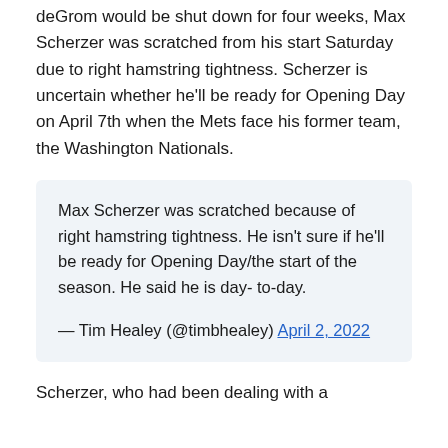deGrom would be shut down for four weeks, Max Scherzer was scratched from his start Saturday due to right hamstring tightness. Scherzer is uncertain whether he'll be ready for Opening Day on April 7th when the Mets face his former team, the Washington Nationals.
Max Scherzer was scratched because of right hamstring tightness. He isn't sure if he'll be ready for Opening Day/the start of the season. He said he is day-to-day.

— Tim Healey (@timbhealey) April 2, 2022
Scherzer, who had been dealing with a